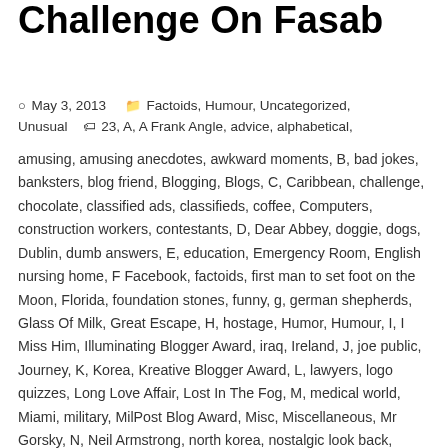Challenge On Fasab
May 3, 2013   Factoids, Humour, Uncategorized, Unusual   23, A, A Frank Angle, advice, alphabetical, amusing, amusing anecdotes, awkward moments, B, bad jokes, banksters, blog friend, Blogging, Blogs, C, Caribbean, challenge, chocolate, classified ads, classifieds, coffee, Computers, construction workers, contestants, D, Dear Abbey, doggie, dogs, Dublin, dumb answers, E, education, Emergency Room, English nursing home, F Facebook, factoids, first man to set foot on the Moon, Florida, foundation stones, funny, g, german shepherds, Glass Of Milk, Great Escape, H, hostage, Humor, Humour, I, I Miss Him, Illuminating Blogger Award, iraq, Ireland, J, joe public, Journey, K, Korea, Kreative Blogger Award, L, lawyers, logo quizzes, Long Love Affair, Lost In The Fog, M, medical world, Miami, military, MilPost Blog Award, Misc, Miscellaneous, Mr Gorsky, N, Neil Armstrong, north korea, nostalgic look back, numbers, O, Obama, One Small Step For Man, oreos, P, peanut butter, People, Personal Writing, politicians, politics, posts, president george w bush, problems, pun, puns, Q, quiz show answers, R, Random...